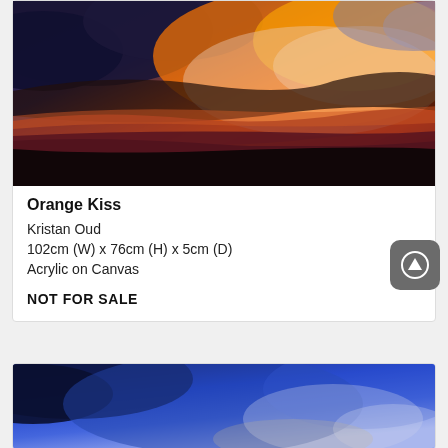[Figure (photo): Painting of a dramatic sunset sky with vivid orange, red, and dark blue-grey clouds over a dark landscape. Acrylic painting titled Orange Kiss by Kristan Oud.]
Orange Kiss
Kristan Oud
102cm (W) x 76cm (H) x 5cm (D)
Acrylic on Canvas
NOT FOR SALE
[Figure (photo): Painting showing a blue sky with clouds, partial view at bottom of page.]